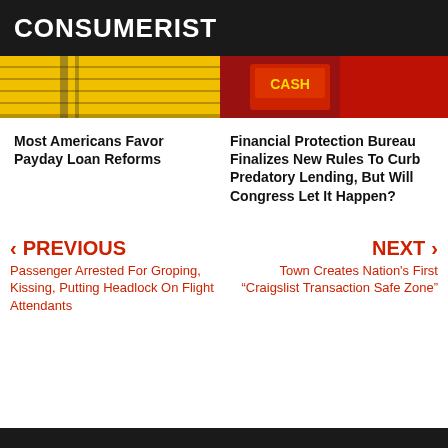CONSUMERIST
[Figure (photo): Yellow striped image on the left side, partial view]
[Figure (photo): Red storefront image with CASH sign on the right side]
Most Americans Favor Payday Loan Reforms
Financial Protection Bureau Finalizes New Rules To Curb Predatory Lending, But Will Congress Let It Happen?
< PREVIOUS
Passenger Arrested For Groping, Kissing, Putting Headlock On Flight Attendants
NEXT >
Town Creates Nation's First “Craigslist Transaction Safe Zone”